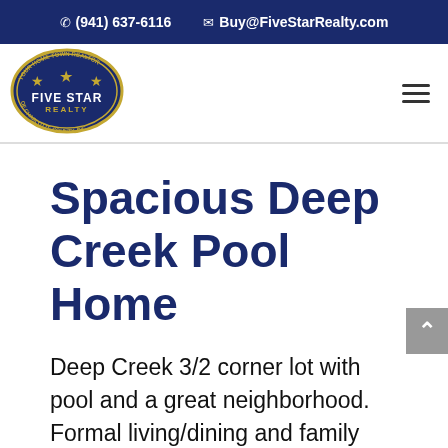(941) 637-6116  Buy@FiveStarRealty.com
[Figure (logo): Five Star Realty of Charlotte County oval logo with three stars and text 'YOUR HOME TOWN REALTOR OF CHARLOTTE COUNTY, INC.']
Spacious Deep Creek Pool Home
Deep Creek 3/2 corner lot with pool and a great neighborhood. Formal living/dining and family room plan. Close to schools, restaurants, etc. Greenbelt area